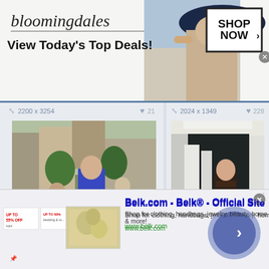[Figure (screenshot): Bloomingdales advertisement banner with logo, fashion model wearing large brimmed hat, and SHOP NOW button]
2200 x 3254   ♥ 21
2024 x 1349   ♥ 228
[Figure (photo): Woman in blue dress getting into a car on a city street]
[Figure (photo): Woman in costume standing in a photography studio with crew members]
[Figure (screenshot): Belk.com advertisement - Belk Official Site - Shop for clothing, handbags, jewelry, beauty, home and more - www.belk.com]